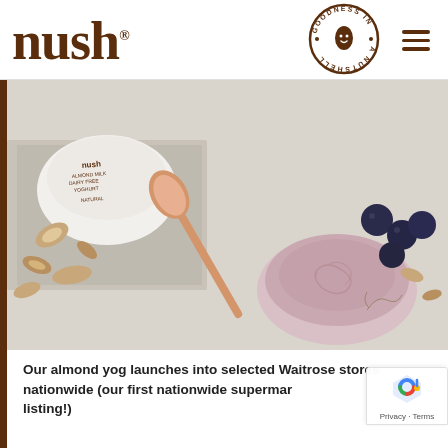[Figure (logo): Nush brand logo in dark brown serif text with registered trademark symbol]
[Figure (logo): Goodness In A Nutshell circular badge logo in dark brown]
[Figure (photo): Overhead photo of Nush almond milk dairy free yoghurt pot, a pink bowl of yoghurt with a rose gold spoon, blueberries, and almonds on a light surface]
Our almond yog launches into selected Waitrose stores nationwide (our first nationwide supermarket listing!)